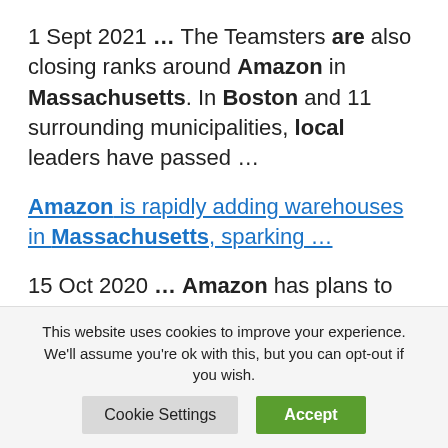1 Sept 2021 … The Teamsters are also closing ranks around Amazon in Massachusetts. In Boston and 11 surrounding municipalities, local leaders have passed …
Amazon is rapidly adding warehouses in Massachusetts, sparking …
15 Oct 2020 … Amazon has plans to get bigger in Greater Boston. A lot bigger. That has local labor groups
This website uses cookies to improve your experience. We'll assume you're ok with this, but you can opt-out if you wish.